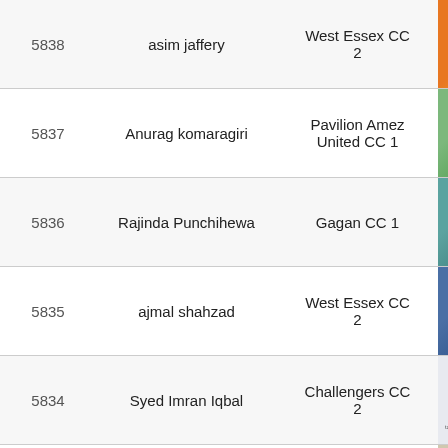| ID | Name | Team | Photo |
| --- | --- | --- | --- |
| 5838 | asim jaffery | West Essex CC 2 |  |
| 5837 | Anurag komaragiri | Pavilion Amez United CC 1 |  |
| 5836 | Rajinda Punchihewa | Gagan CC 1 |  |
| 5835 | ajmal shahzad | West Essex CC 2 |  |
| 5834 | Syed Imran Iqbal | Challengers CC 2 |  |
| 5833 | SHAZIB ISHAQ MOHAMMAD | Eleven stars CC |  |